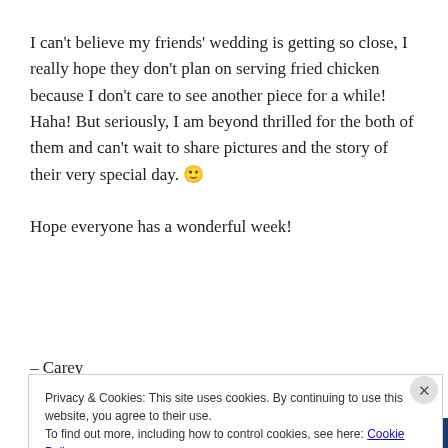I can't believe my friends' wedding is getting so close, I really hope they don't plan on serving fried chicken because I don't care to see another piece for a while! Haha! But seriously, I am beyond thrilled for the both of them and can't wait to share pictures and the story of their very special day. 🙂

Hope everyone has a wonderful week!
– Carey
Privacy & Cookies: This site uses cookies. By continuing to use this website, you agree to their use.
To find out more, including how to control cookies, see here: Cookie Policy